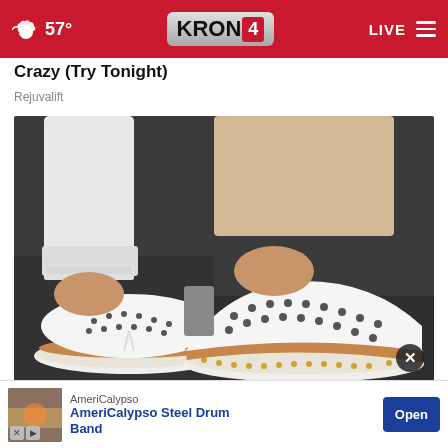57° KRON 4 LIVE
Crazy (Try Tonight)
Rejuvalift
[Figure (photo): Close-up photo of a person wearing white perforated slip-on sneakers with brown trim and tassel detail, paired with white cropped jeans, standing on a dark surface.]
The Dis…
AmeriCalypso
AmeriCalypso Steel Drum Band